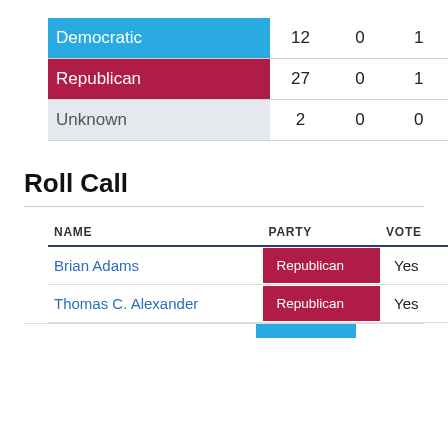|  |  |  |  |
| --- | --- | --- | --- |
| Democratic | 12 | 0 | 1 |
| Republican | 27 | 0 | 1 |
| Unknown | 2 | 0 | 0 |
Roll Call
| NAME | PARTY | VOTE |
| --- | --- | --- |
| Brian Adams | Republican | Yes |
| Thomas C. Alexander | Republican | Yes |